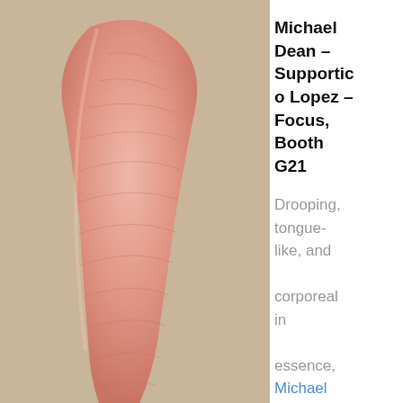[Figure (photo): Close-up photo of a drooping, tongue-like pink sculptural form against a tan/beige wall background. The sculpture has a rounded top and tapers downward, with textured surface details.]
Michael Dean – Supportico Lopez – Focus, Booth G21
Drooping, tongue-like, and corporeal in essence, Michael